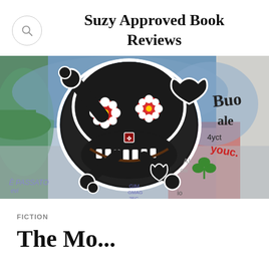Suzy Approved Book Reviews
[Figure (photo): Colorful graffiti wall mural featuring a large black cartoon skull and crossbones with flower eyes and a grinning mouth, surrounded by text graffiti including 'E PASSATO' and 'Buon', with green shamrocks and various colorful tags.]
FICTION
The Mo...